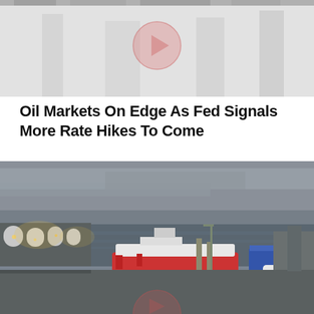[Figure (photo): Top portion of a news article image, partially cut off at the top. Light gray background with a partially visible play/pause button icon overlaid in pink/light red.]
Oil Markets On Edge As Fed Signals More Rate Hikes To Come
[Figure (photo): Aerial photograph of a busy industrial harbor at dusk/evening. A large red and white vessel is docked. Blue shipping containers, white storage tanks, and port infrastructure are visible. Overcast gray sky. A partially visible play button icon appears at the bottom of the image in pink/light red.]